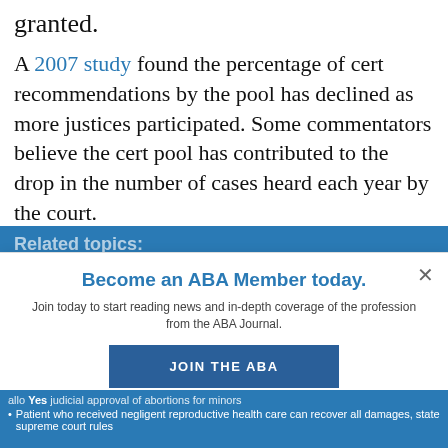granted.
A 2007 study found the percentage of cert recommendations by the pool has declined as more justices participated. Some commentators believe the cert pool has contributed to the drop in the number of cases heard each year by the court.
Related topics:
Become an ABA Member today.
Join today to start reading news and in-depth coverage of the profession from the ABA Journal.
JOIN THE ABA
Already an ABA Member? Sign in
allow judicial approval of abortions for minors
Patient who received negligent reproductive health care can recover all damages, state supreme court rules